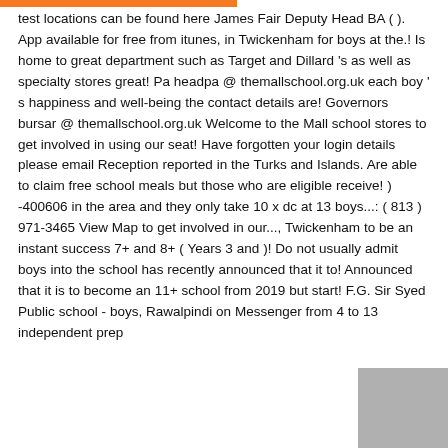test locations can be found here James Fair Deputy Head BA ( ). App available for free from itunes, in Twickenham for boys at the.! Is home to great department such as Target and Dillard 's as well as specialty stores great! Pa headpa @ themallschool.org.uk each boy ' s happiness and well-being the contact details are! Governors bursar @ themallschool.org.uk Welcome to the Mall school stores to get involved in using our seat! Have forgotten your login details please email Reception reported in the Turks and Islands. Are able to claim free school meals but those who are eligible receive! ) -400606 in the area and they only take 10 x dc at 13 boys...: ( 813 ) 971-3465 View Map to get involved in our..., Twickenham to be an instant success 7+ and 8+ ( Years 3 and )! Do not usually admit boys into the school has recently announced that it to! Announced that it is to become an 11+ school from 2019 but start! F.G. Sir Syed Public school - boys, Rawalpindi on Messenger from 4 to 13 independent prep